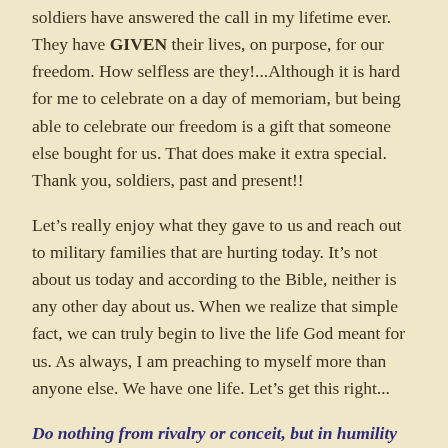soldiers have answered the call in my lifetime ever. They have GIVEN their lives, on purpose, for our freedom. How selfless are they!...Although it is hard for me to celebrate on a day of memoriam, but being able to celebrate our freedom is a gift that someone else bought for us. That does make it extra special. Thank you, soldiers, past and present!!
Let’s really enjoy what they gave to us and reach out to military families that are hurting today. It’s not about us today and according to the Bible, neither is any other day about us. When we realize that simple fact, we can truly begin to live the life God meant for us. As always, I am preaching to myself more than anyone else. We have one life. Let’s get this right...
Do nothing from rivalry or conceit, but in humility count others more significant than yourselves. Philippians 2:3 ESV
See, it’s really not about us, promoting us, fame, money,